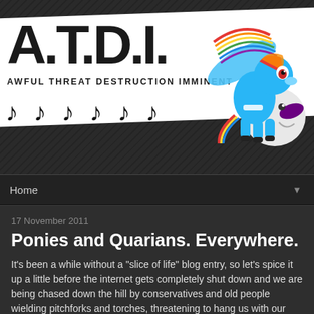[Figure (illustration): A.T.D.I. blog header banner with large stylized logo text on a tilted white paper background, musical notes, a pac-man-like ghost creature, and a Rainbow Dash (My Little Pony) character on a dark diagonal-striped background. Subtitle reads AWFUL THREAT DESTRUCTION IMMINENT.]
Home
17 November 2011
Ponies and Quarians. Everywhere.
It's been a while without a "slice of life" blog entry, so let's spice it up a little before the internet gets completely shut down and we are being chased down the hill by conservatives and old people wielding pitchforks and torches, threatening to hang us with our USB cables.